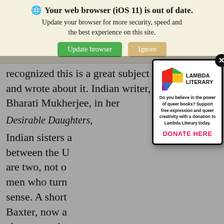[Figure (screenshot): Browser update warning banner with globe icon, bold title 'Your web browser (iOS 11) is out of date.', subtitle 'Update your browser for more security, speed and the best experience on this site.', and two buttons: 'Update browser' (green) and 'Ignore' (tan/gold).]
recognized this is a great subject and wrote about it. Indian writer, Bharati Mukherjee, in her Desirable Daughters, Indian sisters a... between the U... are two, not o... men who turn... sense. A short... Baxter, now a... characters sho... sense. He reali...
[Figure (logo): Lambda Literary modal popup with colorful Lambda Literary logo (geometric shapes in red, green, yellow, blue, purple), text 'Do you believe in the power of queer books? Support free expression and queer creativity with a donation to Lambda Literary today.' and 'DONATE HERE' in red. Has a close button (X) in top right corner.]